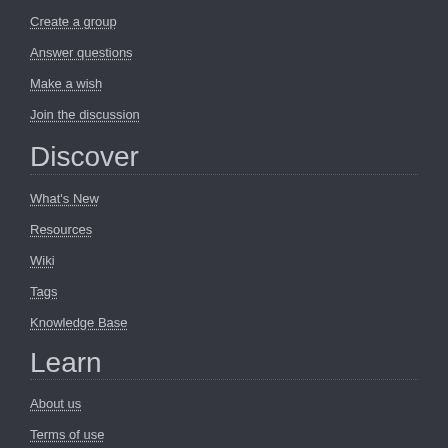Create a group
Answer questions
Make a wish
Join the discussion
Discover
What's New
Resources
Wiki
Tags
Knowledge Base
Learn
About us
Terms of use